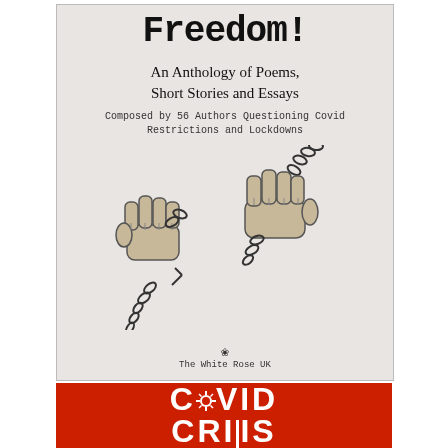[Figure (illustration): Book cover for 'Freedom!' - An Anthology of Poems, Short Stories and Essays, composed by 56 Authors Questioning Covid Restrictions and Lockdowns, published by The White Rose UK. Cover shows two fists breaking chains on a light grey background.]
[Figure (logo): Red book cover or logo reading 'COVID CRISIS' in large white bold text on a red background, with a coronavirus icon replacing the O in COVID.]